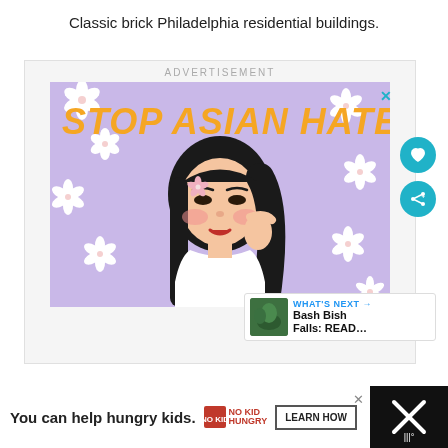Classic brick Philadelphia residential buildings.
[Figure (illustration): Advertisement banner with 'STOP ASIAN HATE' text and illustration of an Asian woman with cherry blossoms on a purple background.]
[Figure (illustration): Bottom advertisement bar: 'You can help hungry kids.' with No Kid Hungry logo and LEARN HOW button.]